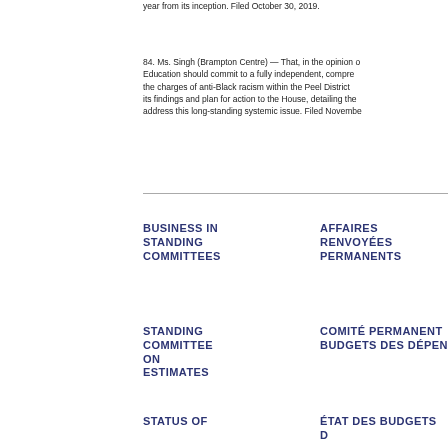year from its inception. Filed October 30, 2019.
84. Ms. Singh (Brampton Centre) — That, in the opinion of the House, the Minister of Education should commit to a fully independent, comprehensive review to investigate the charges of anti-Black racism within the Peel District School Board, and report its findings and plan for action to the House, detailing the steps required to address this long-standing systemic issue. Filed November [date].
BUSINESS IN STANDING COMMITTEES
AFFAIRES RENVOYÉES AUX COMITÉS PERMANENTS
STANDING COMMITTEE ON ESTIMATES
COMITÉ PERMANENT DES BUDGETS DES DÉPENSES
STATUS OF
ÉTAT DES BUDGETS D